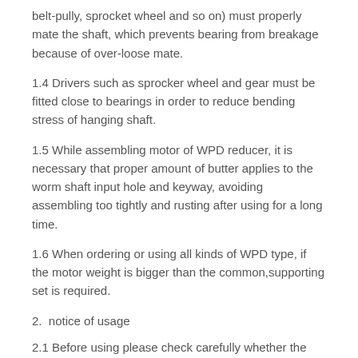belt-pully, sprocket wheel and so on) must properly mate the shaft, which prevents bearing from breakage because of over-loose mate.
1.4 Drivers such as sprocker wheel and gear must be fitted close to bearings in order to reduce bending stress of hanging shaft.
1.5 While assembling motor of WPD reducer, it is necessary that proper amount of butter applies to the worm shaft input hole and keyway, avoiding assembling too tightly and rusting after using for a long time.
1.6 When ordering or using all kinds of WPD type, if the motor weight is bigger than the common,supporting set is required.
2.  notice of usage
2.1 Before using please check carefully whether the